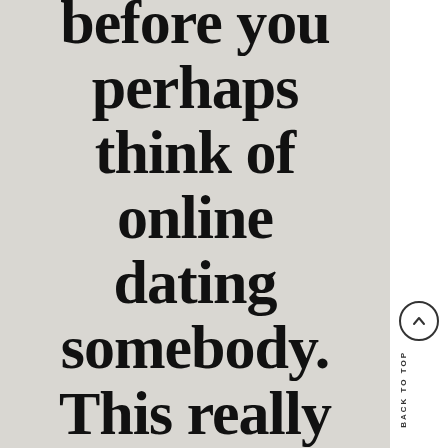before you perhaps think of online dating somebody. This really is one of
BACK TO TOP